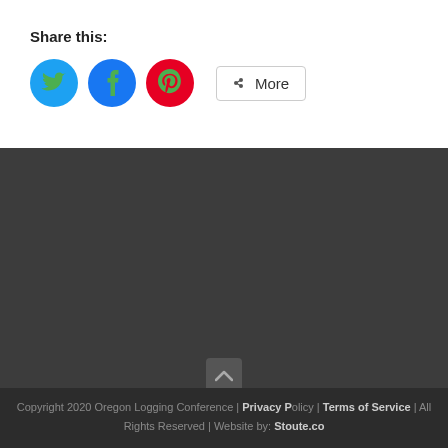Share this:
[Figure (other): Social share buttons: Twitter (blue circle with bird icon), Facebook (blue circle with f icon), Pinterest (red circle with P icon), and a More button with share icon]
Copyright 2020 Oregon Logging Conference | Privacy Policy | Terms of Service | All Rights Reserved | Website by: Stoute.co